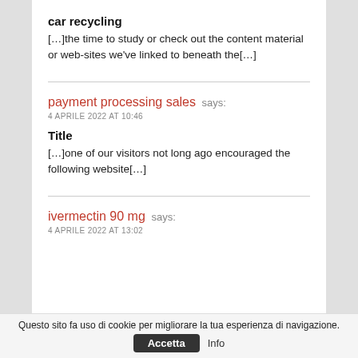car recycling
[…]the time to study or check out the content material or web-sites we've linked to beneath the[…]
payment processing sales says:
4 APRILE 2022 AT 10:46
Title
[…]one of our visitors not long ago encouraged the following website[…]
ivermectin 90 mg says:
4 APRILE 2022 AT 13:02
Questo sito fa uso di cookie per migliorare la tua esperienza di navigazione. Accetta  Info